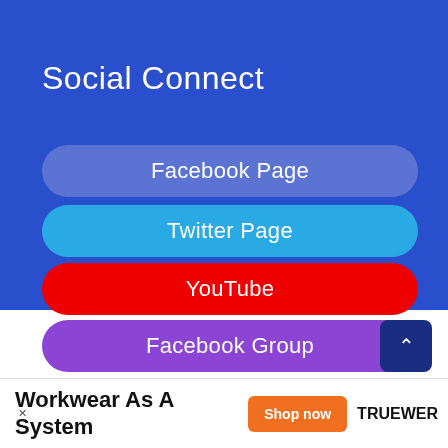Social Connect
Facebook Page
Twitter Page
YouTube
Facebook Group
Pinterest
Workwear As A System
Shop now
TRUEWER